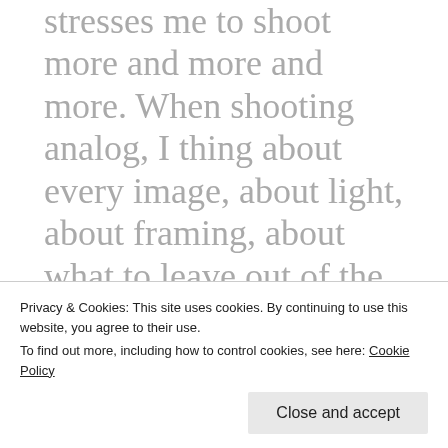stresses me to shoot more and more and more. When shooting analog, I thing about every image, about light, about framing, about what to leave out of the frame and what to get into it, about pose, about a possible story, ... I feel that I do not take the same amount of time when shooting digital. You shoot far less images when shooting film, but you get as many good ones than when shooting hundreds of digital images. ... I experience a great feeling of joy when seeing the images on the developed film for the first time. They are a
Privacy & Cookies: This site uses cookies. By continuing to use this website, you agree to their use.
To find out more, including how to control cookies, see here: Cookie Policy